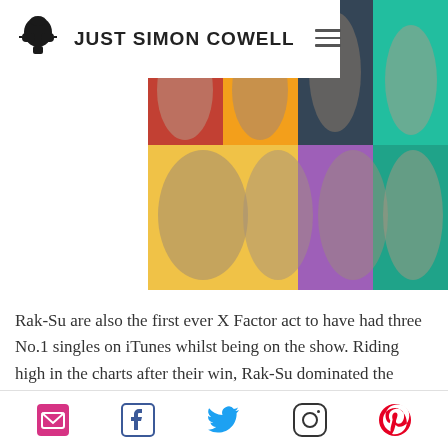JUST SIMON COWELL
[Figure (photo): Colorful collage photo of Rak-Su group members against vibrant colored backgrounds]
Rak-Su are also the first ever X Factor act to have had three No.1 singles on iTunes whilst being on the show. Riding high in the charts after their win, Rak-Su dominated the iTunes charts with five
Social share icons: email, facebook, twitter, instagram, pinterest